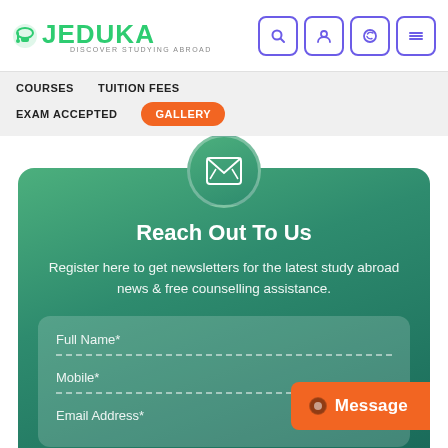[Figure (logo): Jeduka logo with graduation cap icon and tagline 'DISCOVER STUDYING ABROAD']
[Figure (screenshot): Header icons: search, user, whatsapp, hamburger menu in purple rounded square buttons]
COURSES
TUITION FEES
EXAM ACCEPTED
GALLERY
Reach Out To Us
Register here to get newsletters for the latest study abroad news & free counselling assistance.
Full Name*
Mobile*
Email Address*
Message